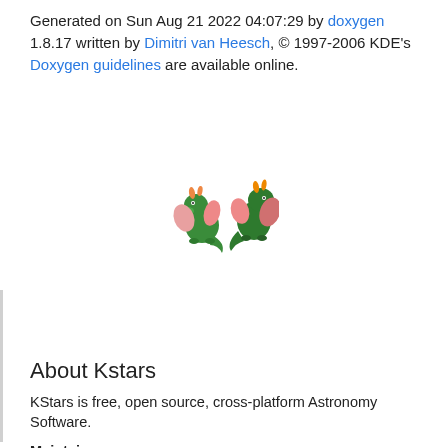Generated on Sun Aug 21 2022 04:07:29 by doxygen 1.8.17 written by Dimitri van Heesch, © 1997-2006 KDE's Doxygen guidelines are available online.
[Figure (illustration): Two small KDE dragon mascot illustrations (green dragons with pink/orange wings) centered on the page]
About Kstars
KStars is free, open source, cross-platform Astronomy Software.
Maintainer
The KDE Community
Supported platforms
Linux, macOS, Windows